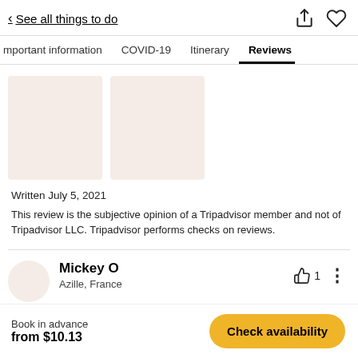< See all things to do
Important information  COVID-19  Itinerary  Reviews
[Figure (photo): Two image placeholders (light beige squares) for review photos]
Written July 5, 2021
This review is the subjective opinion of a Tripadvisor member and not of Tripadvisor LLC. Tripadvisor performs checks on reviews.
Mickey O
Azille, France
Book in advance
from $10.13